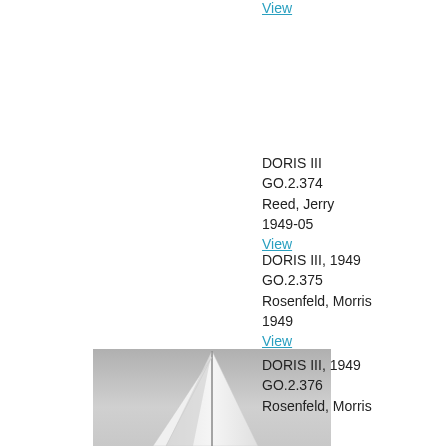View (link at top)
DORIS III
GO.2.374
Reed, Jerry
1949-05
View
DORIS III, 1949
GO.2.375
Rosenfeld, Morris
1949
View
[Figure (photo): Black and white photograph of a sailboat sail seen from below, pointing upward against a grey sky.]
DORIS III, 1949
GO.2.376
Rosenfeld, Morris